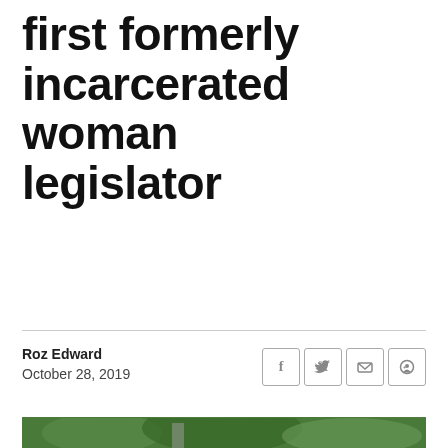first formerly incarcerated woman legislator
Roz Edward
October 28, 2019
[Figure (photo): A woman with dark hair in a blue shirt waving her right hand, photographed outdoors in front of green trees/foliage.]